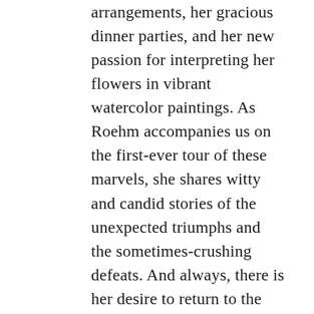arrangements, her gracious dinner parties, and her new passion for interpreting her flowers in vibrant watercolor paintings. As Roehm accompanies us on the first-ever tour of these marvels, she shares witty and candid stories of the unexpected triumphs and the sometimes-crushing defeats. And always, there is her desire to return to the garden—to tend, to mend, or to plant anew. All books purchased at CAROLYNEROEHM.COM can be signed by the author. Due to Ms. Roehm's schedule we will not be able to guarantee immediate personalization. We will contact you with an estimated delivery date.